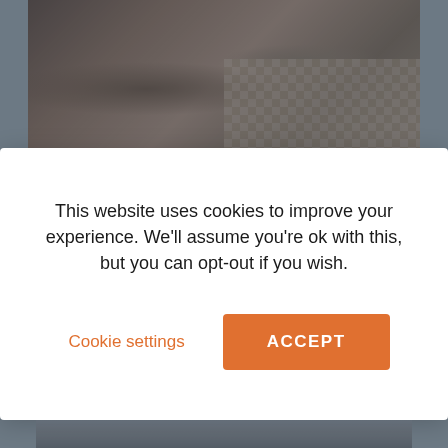[Figure (photo): Interior photo of a restaurant bar with a curved bar counter, checkered floor pattern, and high stools visible on the right side]
This website uses cookies to improve your experience. We'll assume you're ok with this, but you can opt-out if you wish.
Cookie settings
ACCEPT
View all homes
[Figure (photo): Exterior photo of a building with a modern roofline against a cloudy sky]